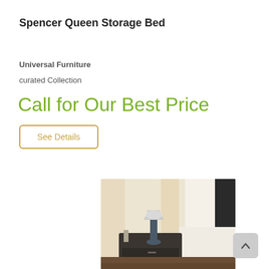Spencer Queen Storage Bed
Universal Furniture
curated Collection
Call for Our Best Price
See Details
[Figure (photo): Bedroom photo showing a dark nightstand with a lamp and a bed with white bedding, natural light from window in background with curtains.]